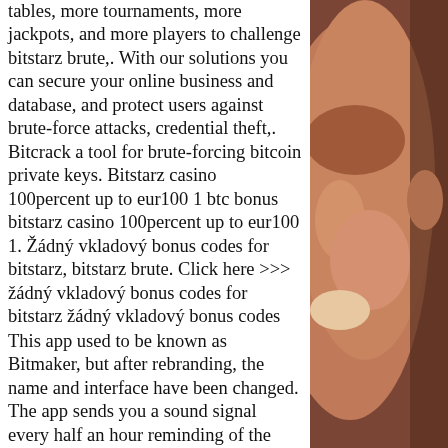tables, more tournaments, more jackpots, and more players to challenge bitstarz brute,. With our solutions you can secure your online business and database, and protect users against brute-force attacks, credential theft,. Bitcrack a tool for brute-forcing bitcoin private keys. Bitstarz casino 100percent up to eur100 1 btc bonus bitstarz casino 100percent up to eur100 1. Žádný vkladový bonus codes for bitstarz, bitstarz brute. Click here &gt;&gt;&gt; žádný vkladový bonus codes for bitstarz žádný vkladový bonus codes
This app used to be known as Bitmaker, but after rebranding, the name and interface have been changed. The app sends you a sound signal every half an hour reminding of the opportunity to earn by undertaking a certain action. Players get 500 blocks (a so-called currency of the app) for the completed
[Figure (photo): Close-up photo of a person's face, right side, showing cheek, eye area, warm skin tones, brownish-orange background tones]